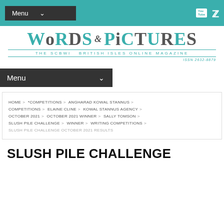Menu
[Figure (logo): Words & Pictures — The SCBWI British Isles Online Magazine logo with decorative lettering. ISSN 2632-8879]
Menu
HOME > *COMPETITIONS > ANGHARAD KOWAL STANNUS > COMPETITIONS > ELAINE CLINE > KOWAL STANNUS AGENCY > OCTOBER 2021 > OCTOBER 2021 WINNER > SALLY TOMSON > SLUSH PILE CHALLENGE > WINNER > WRITING COMPETITIONS > SLUSH PILE CHALLENGE OCTOBER 2021 RESULTS
SLUSH PILE CHALLENGE